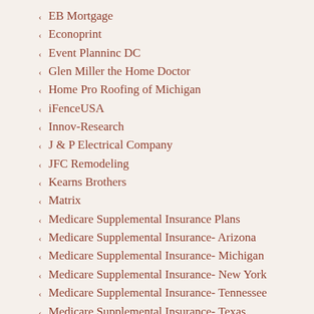EB Mortgage
Econoprint
Event Planninc DC
Glen Miller the Home Doctor
Home Pro Roofing of Michigan
iFenceUSA
Innov-Research
J & P Electrical Company
JFC Remodeling
Kearns Brothers
Matrix
Medicare Supplemental Insurance Plans
Medicare Supplemental Insurance- Arizona
Medicare Supplemental Insurance- Michigan
Medicare Supplemental Insurance- New York
Medicare Supplemental Insurance- Tennessee
Medicare Supplemental Insurance- Texas
Medigan Insurance Plans